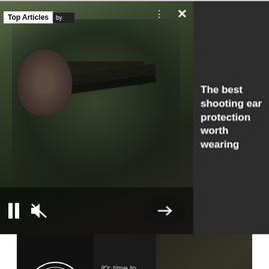[Figure (screenshot): Video player overlay showing a soldier aiming a rifle with forest background. Top Articles panel with 'by' label. Three-dot menu and X close button visible. Bottom controls show pause button, mute button, and right arrow button.]
[Figure (photo): Banner advertisement for Concerned Veterans for America (CVA) with logo on left, text 'It's time to BRING OUR TROOPS HOME from Iraq.' in center, and military soldiers in background on right.]
Field claims adjusters are responsible for planning, conducting and documenting in-field, on-site residential property investigations to determine the cause of loss and determine the value in a claim.